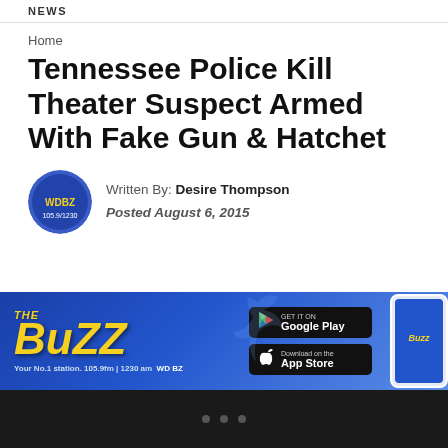NEWS
Home
Tennessee Police Kill Theater Suspect Armed With Fake Gun & Hatchet
Written By: Desire Thompson
Posted August 6, 2015
[Figure (illustration): The Buzz app advertisement banner with Google Play and App Store download buttons, featuring a stylized bird and phone mockup on a blue gradient background with 'WD BZ' text]
• • •